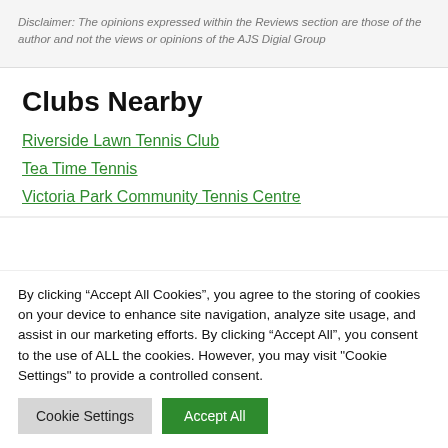Disclaimer: The opinions expressed within the Reviews section are those of the author and not the views or opinions of the AJS Digial Group
Clubs Nearby
Riverside Lawn Tennis Club
Tea Time Tennis
Victoria Park Community Tennis Centre
By clicking “Accept All Cookies”, you agree to the storing of cookies on your device to enhance site navigation, analyze site usage, and assist in our marketing efforts. By clicking “Accept All”, you consent to the use of ALL the cookies. However, you may visit "Cookie Settings" to provide a controlled consent.